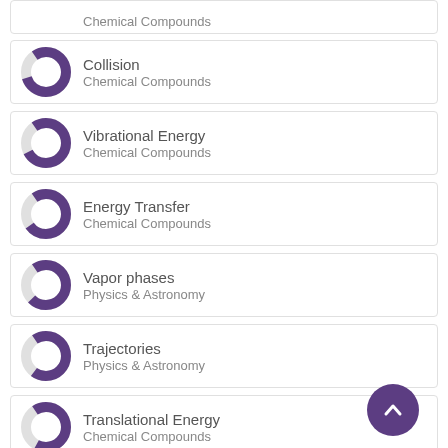Chemical Compounds (partial top)
Collision — Chemical Compounds
Vibrational Energy — Chemical Compounds
Energy Transfer — Chemical Compounds
Vapor phases — Physics & Astronomy
Trajectories — Physics & Astronomy
Translational Energy — Chemical Compounds
(partial bottom row)